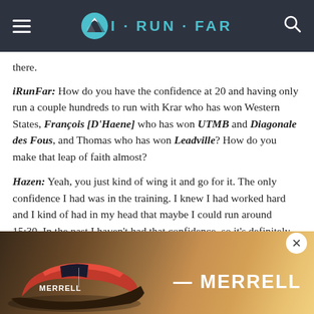iRunFar
there.
iRunFar: How do you have the confidence at 20 and having only run a couple hundreds to run with Krar who has won Western States, François [D'Haene] who has won UTMB and Diagonale des Fous, and Thomas who has won Leadville? How do you make that leap of faith almost?
Hazen: Yeah, you just kind of wing it and go for it. The only confidence I had was in the training. I knew I had worked hard and I kind of had in my head that maybe I could run around 15:30. In the past I haven't had that confidence, so it's definitely building. Sonoma was a big stepping stone, and this is another
[Figure (photo): Merrell advertisement showing a red and black trail running shoe with the Merrell brand name]